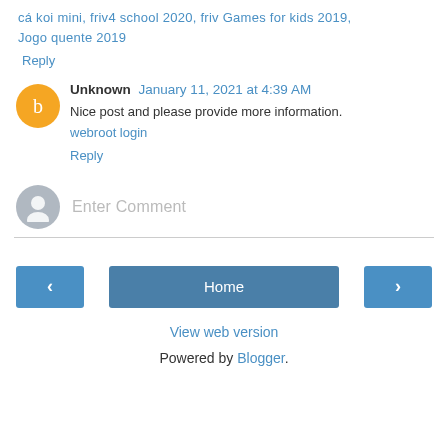cá koi mini, friv4 school 2020, friv Games for kids 2019, Jogo quente 2019
Reply
Unknown  January 11, 2021 at 4:39 AM
Nice post and please provide more information.
webroot login
Reply
Enter Comment
‹
Home
›
View web version
Powered by Blogger.